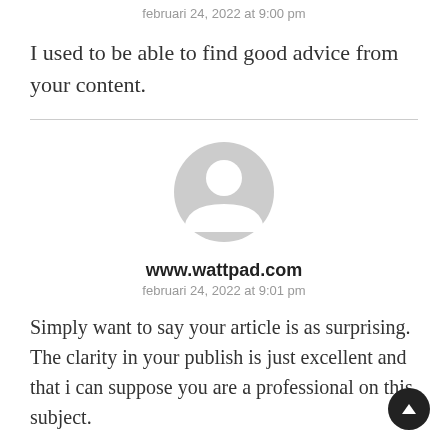februari 24, 2022 at 9:00 pm
I used to be able to find good advice from your content.
[Figure (illustration): Generic user avatar — grey circle with white silhouette of a person]
www.wattpad.com
februari 24, 2022 at 9:01 pm
Simply want to say your article is as surprising. The clarity in your publish is just excellent and that i can suppose you are a professional on this subject.